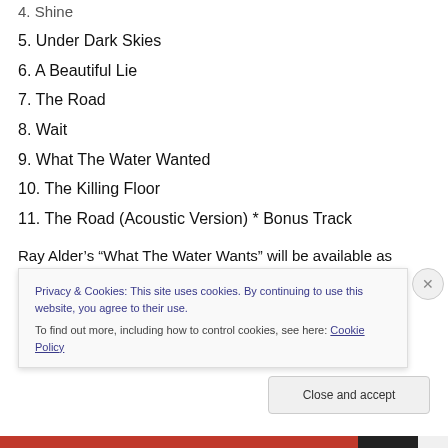4. Shine
5. Under Dark Skies
6. A Beautiful Lie
7. The Road
8. Wait
9. What The Water Wanted
10. The Killing Floor
11. The Road (Acoustic Version) * Bonus Track
Ray Alder’s “What The Water Wants” will be available as limited first-pressing Digipak CD with a bonus track (An acoustic version of “The Road”) and as LP on 180gr. vinyl
Privacy & Cookies: This site uses cookies. By continuing to use this website, you agree to their use.
To find out more, including how to control cookies, see here: Cookie Policy